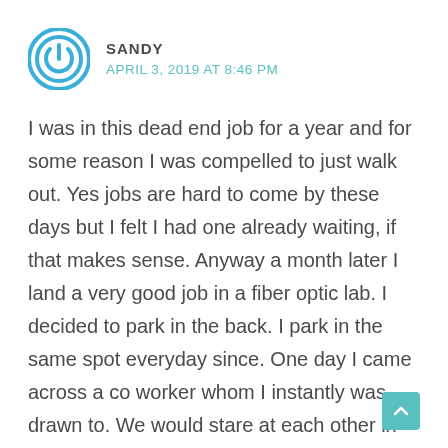[Figure (logo): Circular power/user avatar icon with blue ring and power symbol]
SANDY
APRIL 3, 2019 AT 8:46 PM
I was in this dead end job for a year and for some reason I was compelled to just walk out. Yes jobs are hard to come by these days but I felt I had one already waiting, if that makes sense. Anyway a month later I land a very good job in a fiber optic lab. I decided to park in the back. I park in the same spot everyday since. One day I came across a co worker whom I instantly was drawn to. We would stare at each other in passing, but not say a word. One day I decided to say hello and talk. We would talk about work, complain about bosses you know